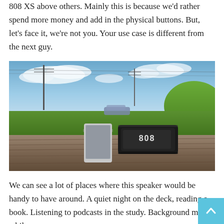808 XS above others. Mainly this is because we'd rather spend more money and add in the physical buttons. But, let's face it, we're not you. Your use case is different from the next guy.
[Figure (photo): Outdoor photo of a 808 branded Bluetooth speaker and a smartphone placed on a weathered wooden log, with green grass, blue sky with clouds, telephone poles, and trees in the background.]
We can see a lot of places where this speaker would be handy to have around. A quiet night on the deck, reading a book. Listening to podcasts in the study. Background music while